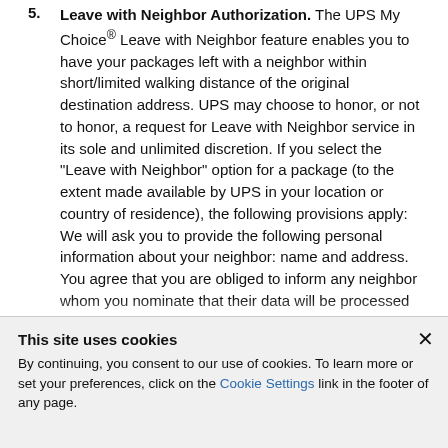5. Leave with Neighbor Authorization. The UPS My Choice® Leave with Neighbor feature enables you to have your packages left with a neighbor within short/limited walking distance of the original destination address. UPS may choose to honor, or not to honor, a request for Leave with Neighbor service in its sole and unlimited discretion. If you select the "Leave with Neighbor" option for a package (to the extent made available by UPS in your location or country of residence), the following provisions apply: We will ask you to provide the following personal information about your neighbor: name and address. You agree that you are obliged to inform any neighbor whom you nominate that their data will be processed for the
This site uses cookies
By continuing, you consent to our use of cookies. To learn more or set your preferences, click on the Cookie Settings link in the footer of any page.